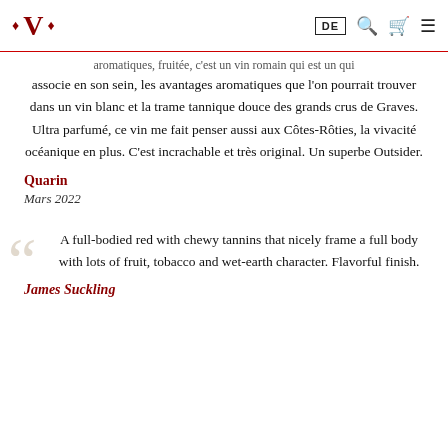V• (logo) | DE | search | cart | menu
aromatiques, fruitée, c'est un vin romain qui est un qui associe en son sein, les avantages aromatiques que l'on pourrait trouver dans un vin blanc et la trame tannique douce des grands crus de Graves. Ultra parfumé, ce vin me fait penser aussi aux Côtes-Rôties, la vivacité océanique en plus. C'est incrachable et très original. Un superbe Outsider.
Quarin
Mars 2022
A full-bodied red with chewy tannins that nicely frame a full body with lots of fruit, tobacco and wet-earth character. Flavorful finish.
James Suckling